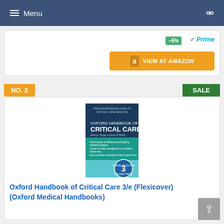Menu
[Figure (screenshot): Partial product card showing -6% discount badge, Amazon Prime logo, and VIEW AT AMAZON orange button]
[Figure (photo): Oxford Handbook of Critical Care 3/e book cover — dark blue and teal, with large text OXFORD HANDBOOK OF CRITICAL CARE, edition 3 badge]
Oxford Handbook of Critical Care 3/e (Flexicover) (Oxford Medical Handbooks)